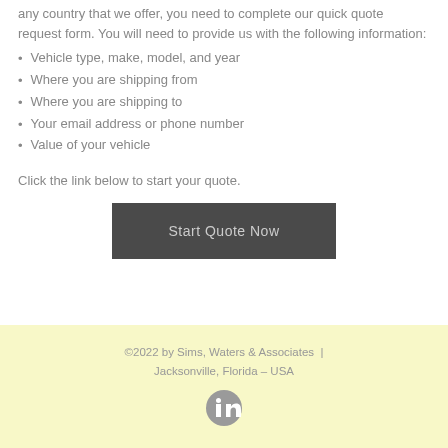any country that we offer, you need to complete our quick quote request form. You will need to provide us with the following information:
Vehicle type, make, model, and year
Where you are shipping from
Where you are shipping to
Your email address or phone number
Value of your vehicle
Click the link below to start your quote.
[Figure (other): Dark grey button labeled 'Start Quote Now']
©2022 by Sims, Waters & Associates  |  Jacksonville, Florida – USA